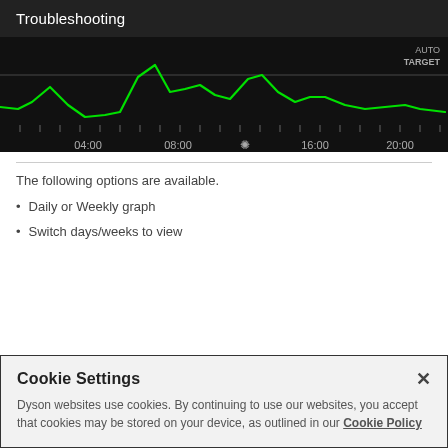Troubleshooting
[Figure (continuous-plot): A dark-background line chart showing a green waveform (energy or temperature data) over time, with x-axis labels: 04:00, 08:00, 16:00, 20:00, and a legend label AUTO TARGET in the upper right corner. The green line shows peaks and valleys across the time period.]
The following options are available.
Daily or Weekly graph
Switch days/weeks to view
Cookie Settings
Dyson websites use cookies. By continuing to use our websites, you accept that cookies may be stored on your device, as outlined in our Cookie Policy